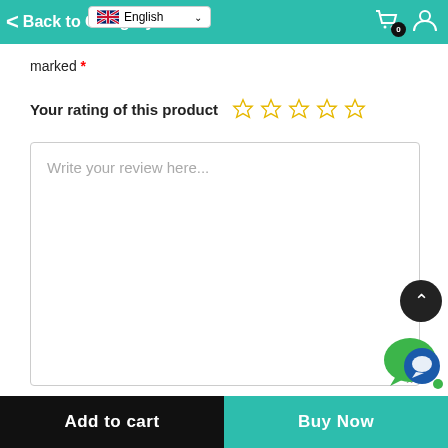English | Back to Category
marked *
Your rating of this product ☆ ☆ ☆ ☆ ☆
Write your review here...
Name *
Add to cart | Buy Now